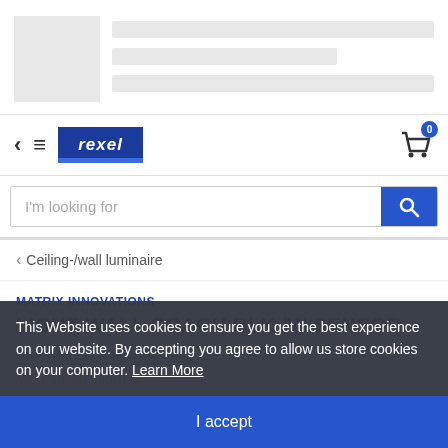[Figure (screenshot): Skeleton loader placeholder with grey image box and grey text lines]
[Figure (logo): Rexel logo in blue with white italic text and blue stripe, navigation bar with back arrow, hamburger menu, and shopping cart icon with badge showing 0]
[Figure (screenshot): Search bar with placeholder text 'I'm looking for' and blue search button with magnifying glass icon]
< Ceiling-/wall luminaire
MATRIX INNOVATIONS
LIGHT WALL COACH BLK /W SENSOR
Rexel Part: MTRMS100BLK
Mfr. Part: MF100BLK
This Website uses cookies to ensure you get the best experience on our website. By accepting you agree to allow us store cookies on your computer. Learn More
I accept